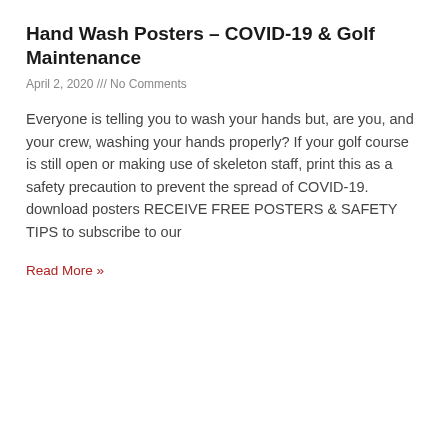Hand Wash Posters – COVID-19 & Golf Maintenance
April 2, 2020 /// No Comments
Everyone is telling you to wash your hands but, are you, and your crew, washing your hands properly? If your golf course is still open or making use of skeleton staff, print this as a safety precaution to prevent the spread of COVID-19. download posters RECEIVE FREE POSTERS & SAFETY TIPS to subscribe to our
Read More »